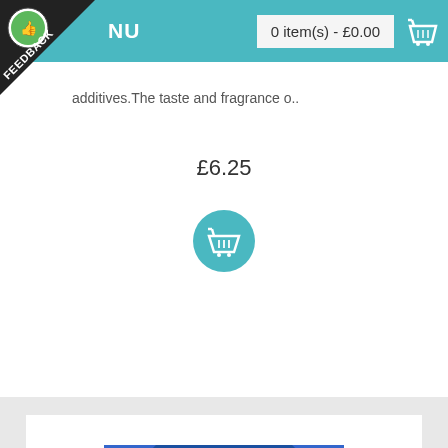MENU  |  0 item(s) - £0.00
additives. The taste and fragrance o..
£6.25
[Figure (photo): Add to cart button – teal circle with basket icon]
[Figure (photo): Product image: Piardino blue decorative box with Sicilian chocolate cream jar inside, visible text 'crema di Cioccolato di Sicil...']